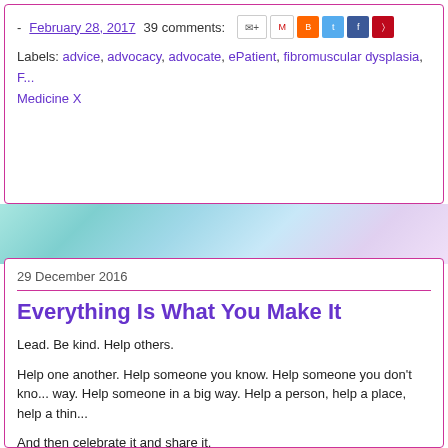- February 28, 2017   39 comments:   [share icons]
Labels: advice, advocacy, advocate, ePatient, fibromuscular dysplasia, F... Medicine X
29 December 2016
Everything Is What You Make It
Lead. Be kind. Help others.
Help one another. Help someone you know. Help someone you don't kno... way. Help someone in a big way. Help a person, help a place, help a thin...
And then celebrate it and share it.
We need some good news. We need to set the tone for 2017. And we ha... have the power to be better than decent and spread it around. As we do... how we want to be treated.
Perhaps my request is simplistic and hokey. Or perhaps believing it to be... current state of things — that somehow we've come to see being kind as... a culture of "I'm going to get what's mine" that has pervaded our lives. It...